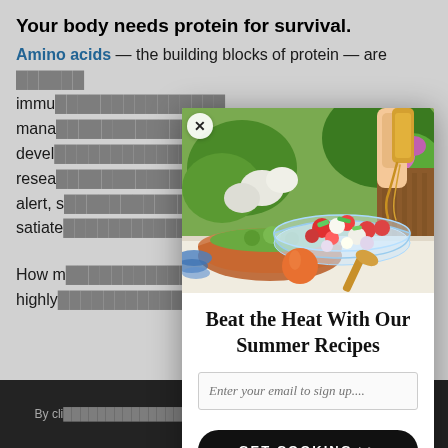Your body needs protein for survival.
Amino acids — the building blocks of protein — are needed for immune function, mood management, brain development, and research. They keep you alert, strong, healthy, and satiated.
How many proteins are highly...
By cli... at
[Figure (photo): A popup modal overlay on a food/health article webpage. The modal shows a photo of a summer salad spread with colorful chopped vegetables in a glass bowl and a hand pouring dressing. Below the photo is the headline 'Beat the Heat With Our Summer Recipes', an email sign-up input, and a black 'GET COOKING >>' button. A close (X) button appears at the top-left of the modal.]
Beat the Heat With Our Summer Recipes
Enter your email to sign up....
GET COOKING >>